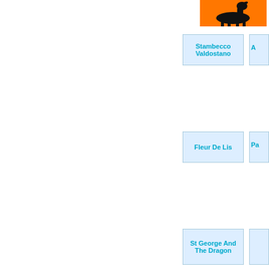[Figure (photo): Silhouette of a deer/ibex on orange background — animal logo/image]
Stambecco Valdostano
Fleur De Lis
St George And The Dragon